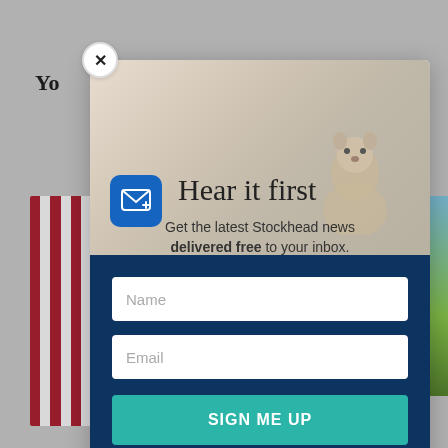[Figure (screenshot): Background webpage content partially visible behind modal, showing partial text 'Yo' at top left, a US flag image on left side, palm trees on right side, a purple 'H' badge, large bold letters 'A' and 'g', and a date 'Au']
[Figure (other): Email newsletter signup modal popup with close X button, top image area showing groundhog animal and sky background, mail icon in blue rounded square, headline 'Hear it first', subtext 'Get the latest Stockhead news delivered free to your inbox.', Name input field, Email input field, and 'SIGN ME UP' teal button on dark navy background]
Hear it first
Get the latest Stockhead news delivered free to your inbox.
Name
Email
SIGN ME UP